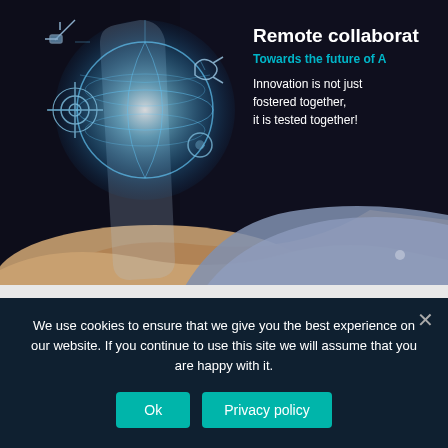[Figure (photo): A dark background image showing a glowing globe with digital network icons being held by a hand in a blue shirt sleeve — technology remote collaboration visual]
Remote collaborat...
Towards the future of A...
Innovation is not just fostered together, it is tested together!
We use cookies to ensure that we give you the best experience on our website. If you continue to use this site we will assume that you are happy with it.